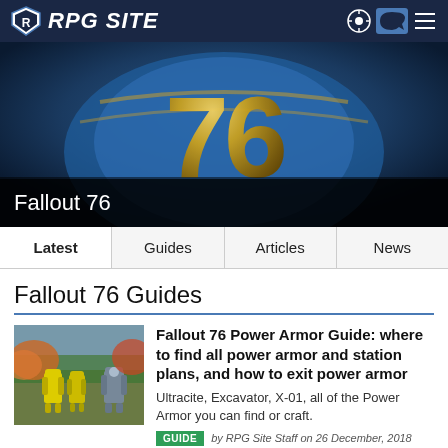RPG Site
[Figure (screenshot): Hero image showing Fallout 76 vault suit with large gold '76' number on the back, blue leather, dark background]
Fallout 76
Latest   Guides   Articles   News
Fallout 76 Guides
[Figure (photo): Fallout 76 power armor characters standing outdoors in autumn setting]
Fallout 76 Power Armor Guide: where to find all power armor and station plans, and how to exit power armor
Ultracite, Excavator, X-01, all of the Power Armor you can find or craft.
GUIDE  by RPG Site Staff on 26 December, 2018
[Figure (photo): Fallout 76 Nuke Guide thumbnail, partially visible]
Fallout 76 Nuke Guide: how to join the